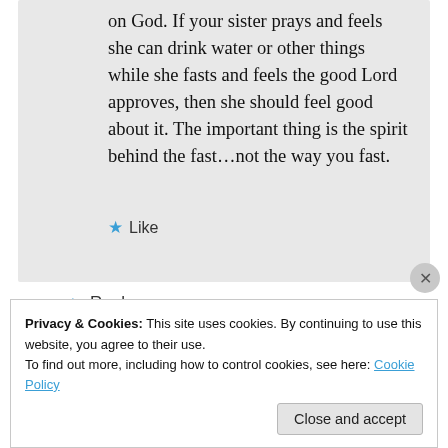on God. If your sister prays and feels she can drink water or other things while she fasts and feels the good Lord approves, then she should feel good about it. The important thing is the spirit behind the fast…not the way you fast.
★ Like
↪ Reply
Privacy & Cookies: This site uses cookies. By continuing to use this website, you agree to their use. To find out more, including how to control cookies, see here: Cookie Policy
Close and accept